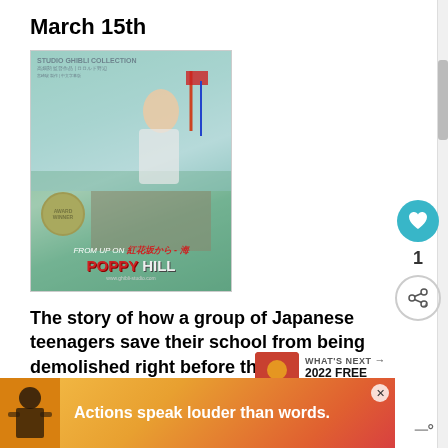March 15th
[Figure (photo): Movie poster for 'From Up on Poppy Hill' by Studio Ghibli, showing an illustrated girl reaching upward with Japanese text and the film title in red and white letters]
The story of how a group of Japanese teenagers save their school from being demolished right before the 1964 Tokyo Olympics.
From Studio Ghibli, who also produced World of Arrietty, this looks to be
[Figure (photo): WHAT'S NEXT thumbnail with text '2022 FREE Summer...']
[Figure (infographic): Advertisement banner: 'Actions speak louder than words.' with colorful background featuring a illustrated figure]